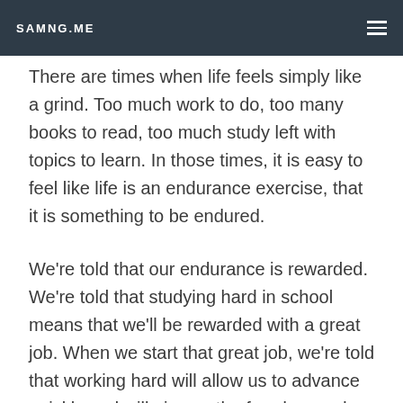SAMNG.ME
There are times when life feels simply like a grind. Too much work to do, too many books to read, too much study left with topics to learn. In those times, it is easy to feel like life is an endurance exercise, that it is something to be endured.
We're told that our endurance is rewarded. We're told that studying hard in school means that we'll be rewarded with a great job. When we start that great job, we're told that working hard will allow us to advance quickly and will give us the freedom and purchasing power to enjoy the fruits of our labor. Then we have kids